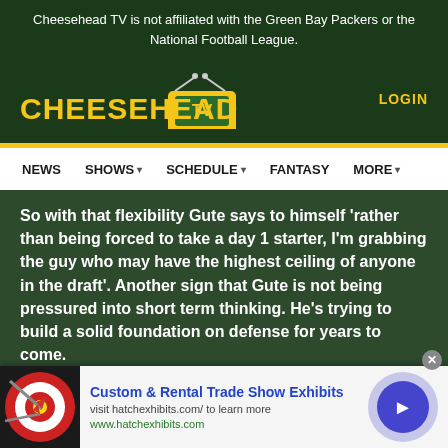Cheesehead TV is not affiliated with the Green Bay Packers or the National Football League.
[Figure (logo): Cheesehead TV logo with yellow text and gold TV icon with antenna]
LOGIN
NEWS  SHOWS  SCHEDULE  FANTASY  MORE
So with that flexibility Gute says to himself 'rather than being forced to take a day 1 starter, I'm grabbing the guy who may have the highest ceiling of anyone in the draft'. Another sign that Gute is not being pressured into short term thinking. He's trying to build a solid foundation on defense for years to come.
Half the guys taken yesterday will be busts.
[Figure (infographic): Advertisement banner: Custom & Rental Trade Show Exhibits - visit hatchexhibits.com/ to learn more - www.hatchexhibits.com, with dart board image and blue circle arrow button]